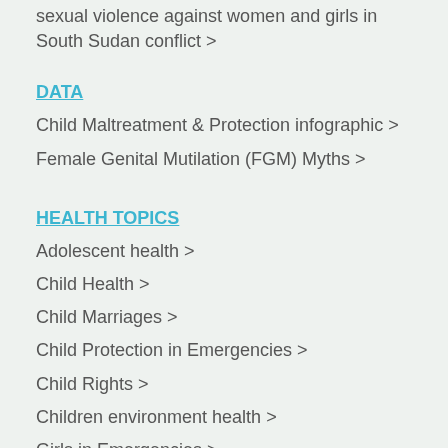sexual violence against women and girls in South Sudan conflict >
DATA
Child Maltreatment & Protection infographic >
Female Genital Mutilation (FGM) Myths >
HEALTH TOPICS
Adolescent health >
Child Health >
Child Marriages >
Child Protection in Emergencies >
Child Rights >
Children environment health >
Girls in Emergencies >